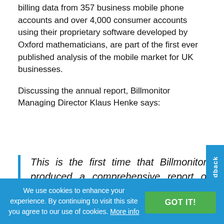billing data from 357 business mobile phone accounts and over 4,000 consumer accounts using their proprietary software developed by Oxford mathematicians, are part of the first ever published analysis of the mobile market for UK businesses.
Discussing the annual report, Billmonitor Managing Director Klaus Henke says:
This is the first time that Billmonitor has produced a comprehensive report on the state of the business mobile market, with a focus on small to medium sized businesses in the UK. The results were a
We use cookies to enhance your experience. By continuing to visit this site you agree to our use of cookies. More info